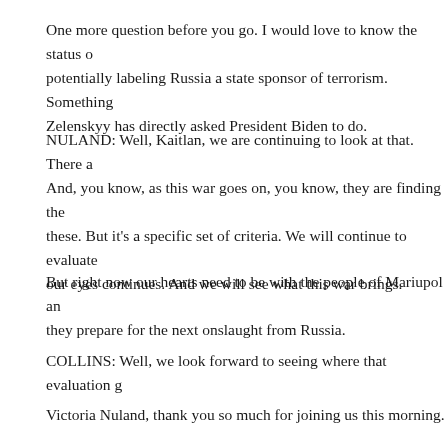One more question before you go. I would love to know the status of potentially labeling Russia a state sponsor of terrorism. Something Zelenskyy has directly asked President Biden to do.
NULAND: Well, Kaitlan, we are continuing to look at that. There a And, you know, as this war goes on, you know, they are finding the these. But it's a specific set of criteria. We will continue to evaluate our eyes continues. And we will see what this war brings.
But right now our hearts need to be with the people of Mariupol an they prepare for the next onslaught from Russia.
COLLINS: Well, we look forward to seeing where that evaluation g
Victoria Nuland, thank you so much for joining us this morning.